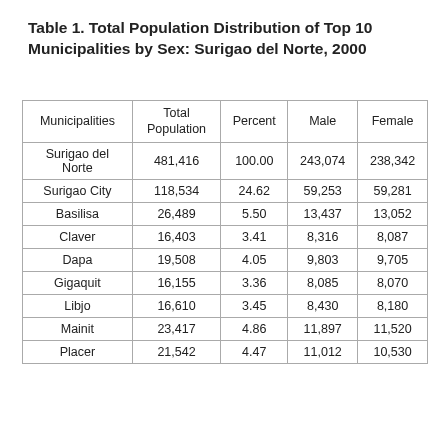Table 1. Total Population Distribution of Top 10 Municipalities by Sex: Surigao del Norte, 2000
| Municipalities | Total Population | Percent | Male | Female |
| --- | --- | --- | --- | --- |
| Surigao del Norte | 481,416 | 100.00 | 243,074 | 238,342 |
| Surigao City | 118,534 | 24.62 | 59,253 | 59,281 |
| Basilisa | 26,489 | 5.50 | 13,437 | 13,052 |
| Claver | 16,403 | 3.41 | 8,316 | 8,087 |
| Dapa | 19,508 | 4.05 | 9,803 | 9,705 |
| Gigaquit | 16,155 | 3.36 | 8,085 | 8,070 |
| Libjo | 16,610 | 3.45 | 8,430 | 8,180 |
| Mainit | 23,417 | 4.86 | 11,897 | 11,520 |
| Placer | 21,542 | 4.47 | 11,012 | 10,530 |